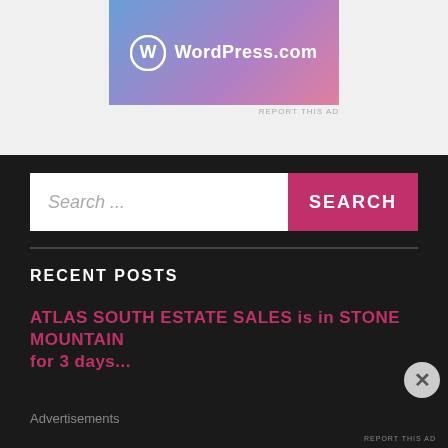[Figure (logo): WordPress.com logo banner with gradient blue-purple-pink background]
REPORT THIS AD
Search ...
SEARCH
RECENT POSTS
ATLAS SOUTH ESTATE SALES is in STONE MOUNTAIN for 3 days...
Advertisements
REPORT THIS AD